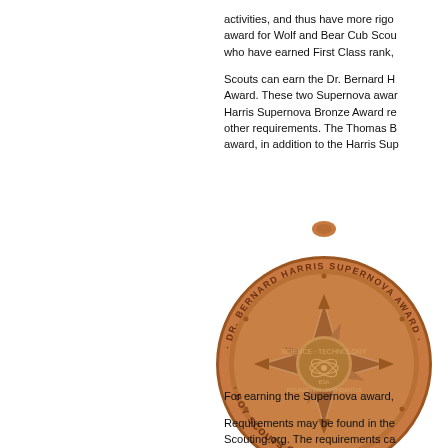activities, and thus have more rigo award for Wolf and Bear Cub Scou who have earned First Class rank,
Scouts can earn the Dr. Bernard H Award. These two Supernova awar Harris Supernova Bronze Award re other requirements. The Thomas B award, in addition to the Harris Sup
[Figure (photo): Bronze medal for the Dr. Bernard Harris Supernova Award, Boy Scouts of America. The circular medal features a star design with STEM symbols and the text 'DR. BERNARD HARRIS SUPERNOVA AWARD' and 'BOY SCOUTS OF AMERICA' around the rim, with 'BSA' in the center.]
For earning the Supernova award,
Requirements may be found in the Scouting.org. The requirements ca